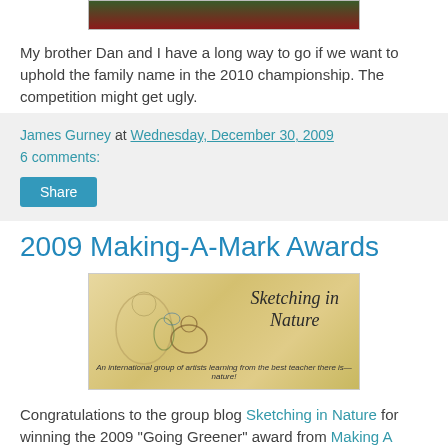[Figure (photo): Top portion of a photo showing two people, partially cropped]
My brother Dan and I have a long way to go if we want to uphold the family name in the 2010 championship. The competition might get ugly.
James Gurney at Wednesday, December 30, 2009
6 comments:
Share
2009 Making-A-Mark Awards
[Figure (illustration): Sketching in Nature blog banner — yellow/golden background with nature sketches and text 'Sketching in Nature — An international group of artists learning from the best teacher there is—nature!']
Congratulations to the group blog Sketching in Nature for winning the 2009 "Going Greener" award from Making A